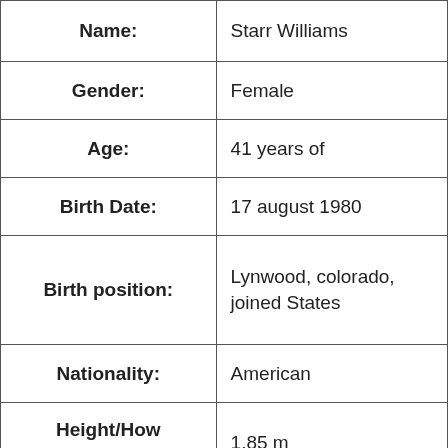| Field | Value |
| --- | --- |
| Name: | Starr Williams |
| Gender: | Female |
| Age: | 41 years of |
| Birth Date: | 17 august 1980 |
| Birth position: | Lynwood, colorado, joined States |
| Nationality: | American |
| Height/How excessive: | 1.85 m |
| Weight(kgs): | 75 kg |